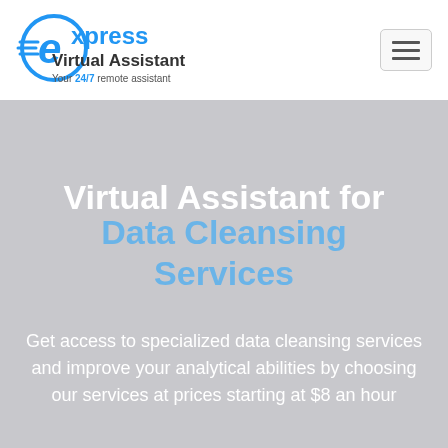[Figure (logo): Express Virtual Assistant logo — stylized blue 'e' with speed lines and text 'express Virtual Assistant Your 24/7 remote assistant']
[Figure (other): Hamburger menu button (three horizontal lines) in a rounded rectangle]
Virtual Assistant for Data Cleansing Services
Get access to specialized data cleansing services and improve your analytical abilities by choosing our services at prices starting at $8 an hour